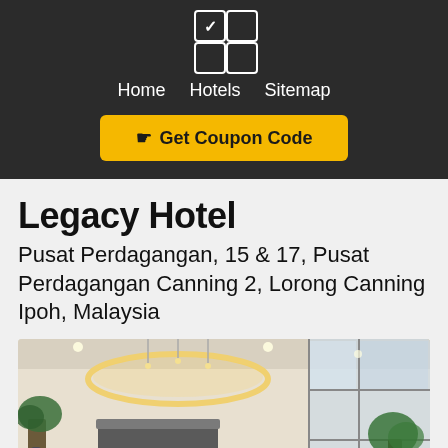[Figure (logo): App logo with 2x2 grid of squares, top-left has checkmark]
Home  Hotels  Sitemap
Get Coupon Code
Legacy Hotel
Pusat Perdagangan, 15 & 17, Pusat Perdagangan Canning 2, Lorong Canning Ipoh, Malaysia
[Figure (photo): Hotel lobby interior with modern design, curved ceiling lights, reception desk, plants, and glass windows]